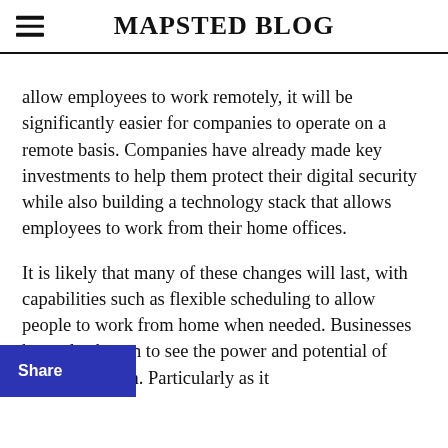MAPSTED BLOG
allow employees to work remotely, it will be significantly easier for companies to operate on a remote basis. Companies have already made key investments to help them protect their digital security while also building a technology stack that allows employees to work from their home offices.
It is likely that many of these changes will last, with capabilities such as flexible scheduling to allow people to work from home when needed. Businesses have also begun to see the power and potential of digital adoption. Particularly as it